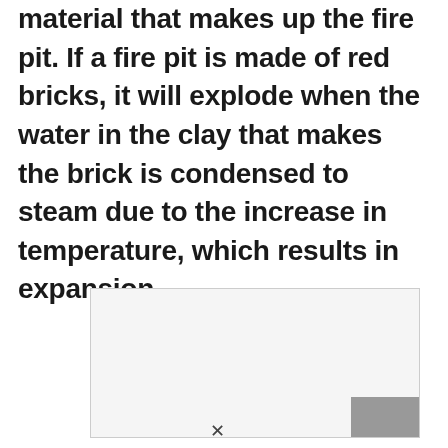material that makes up the fire pit. If a fire pit is made of red bricks, it will explode when the water in the clay that makes the brick is condensed to steam due to the increase in temperature, which results in expansion.
[Figure (other): A partially visible image placeholder box with a light grey background and a darker grey rectangle in the bottom-right corner, partially cut off. A downward arrow symbol is visible at the bottom of the page.]